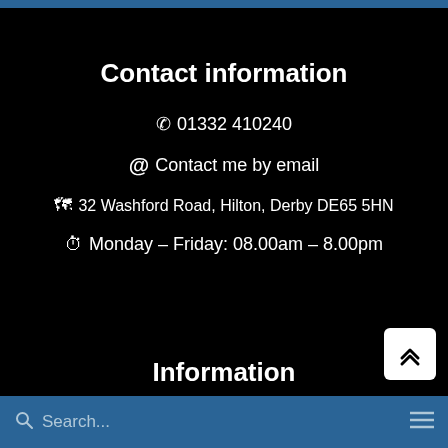Contact information
📞 01332 410240
@ Contact me by email
32 Washford Road, Hilton, Derby DE65 5HN
Monday – Friday: 08.00am – 8.00pm
Information
Search...